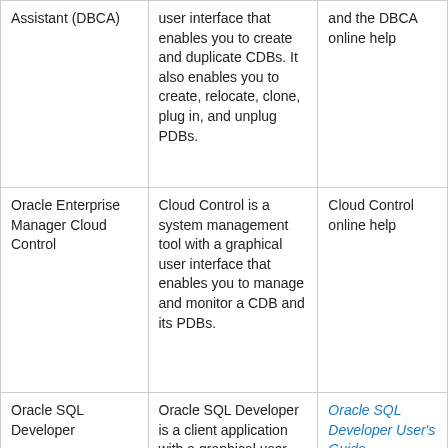| Assistant (DBCA) | user interface that enables you to create and duplicate CDBs. It also enables you to create, relocate, clone, plug in, and unplug PDBs. | and the DBCA online help |
| Oracle Enterprise Manager Cloud Control | Cloud Control is a system management tool with a graphical user interface that enables you to manage and monitor a CDB and its PDBs. | Cloud Control online help |
| Oracle SQL Developer | Oracle SQL Developer is a client application with a graphical user interface that enables you to configure a CDB, create PDBs, plug | Oracle SQL Developer User's Guide |